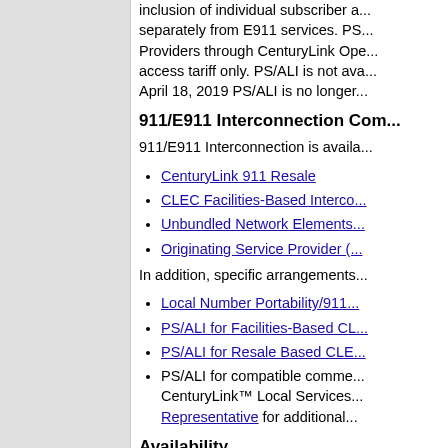inclusion of individual subscriber a... separately from E911 services. PS... Providers through CenturyLink Ope... access tariff only. PS/ALI is not ava... April 18, 2019 PS/ALI is no longer...
911/E911 Interconnection Com...
911/E911 Interconnection is availa...
CenturyLink 911 Resale
CLEC Facilities-Based Interco...
Unbundled Network Elements...
Originating Service Provider (...
In addition, specific arrangements...
Local Number Portability/911...
PS/ALI for Facilities-Based CL...
PS/ALI for Resale Based CLE...
PS/ALI for compatible comme... CenturyLink™ Local Services... Representative for additional...
Availability
911/E911 is available where faciliti...
Public agencies determine whethe... geographic area, and how each em...